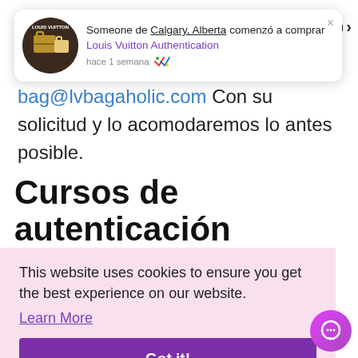[Figure (screenshot): Notification popup showing Louis Vuitton logo avatar, text 'Someone de Calgary, Alberta comenzó a comprar Louis Vuitton Authentication hace 1 semana' with colorful checkmarks icon]
bag@lvbagaholic.com Con su solicitud y lo acomodaremos lo antes posible.
Cursos de autenticación
This website uses cookies to ensure you get the best experience on our website.
Learn More
Got it!